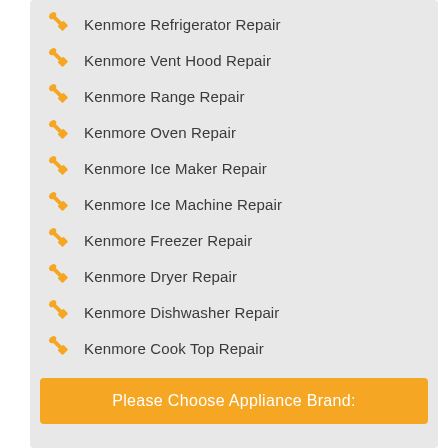Kenmore Refrigerator Repair
Kenmore Vent Hood Repair
Kenmore Range Repair
Kenmore Oven Repair
Kenmore Ice Maker Repair
Kenmore Ice Machine Repair
Kenmore Freezer Repair
Kenmore Dryer Repair
Kenmore Dishwasher Repair
Kenmore Cook Top Repair
Please Choose Appliance Brand: